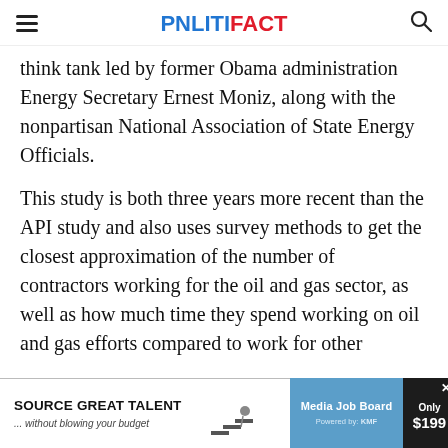POLITIFACT
think tank led by former Obama administration Energy Secretary Ernest Moniz, along with the nonpartisan National Association of State Energy Officials.
This study is both three years more recent than the API study and also uses survey methods to get the closest approximation of the number of contractors working for the oil and gas sector, as well as how much time they spend working on oil and gas efforts compared to work for other
[Figure (other): Advertisement banner: SOURCE GREAT TALENT ... without blowing your budget / Media Job Board / Only $199]